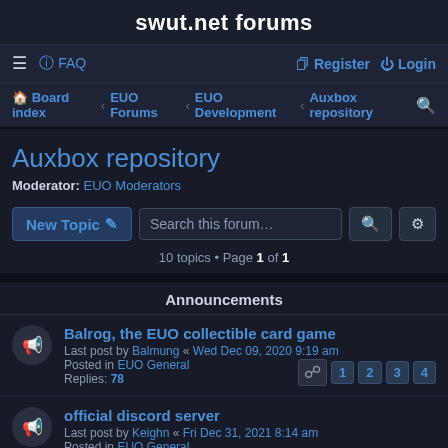swut.net forums
≡ FAQ  Register Login
Board index › EUO Forums › EUO Development › Auxbox repository 🔍
Auxbox repository
Moderator: EUO Moderators
New Topic ✏ Search this forum… 🔍 ⚙ 10 topics • Page 1 of 1
Announcements
Balrog, the EUO collectible card game
Last post by Balmung « Wed Dec 09, 2020 9:19 am
Posted in EUO General
Replies: 78  Pages: 1 2 3 4
official discord server
Last post by Keighn « Fri Dec 31, 2021 8:14 am
Posted in EUO General
Replies: 11
Crypt Wizard: updated for 2021 !